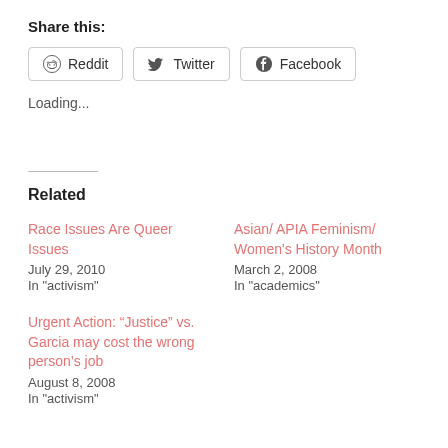Share this:
[Figure (other): Social share buttons for Reddit, Twitter, and Facebook]
Loading...
Related
Race Issues Are Queer Issues
July 29, 2010
In "activism"
Asian/ APIA Feminism/ Women's History Month
March 2, 2008
In "academics"
Urgent Action: “Justice” vs. Garcia may cost the wrong person’s job
August 8, 2008
In "activism"